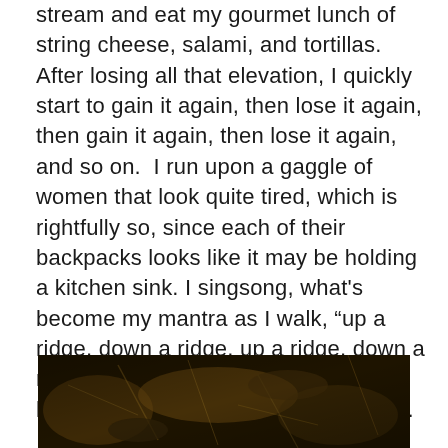stream and eat my gourmet lunch of string cheese, salami, and tortillas. After losing all that elevation, I quickly start to gain it again, then lose it again, then gain it again, then lose it again, and so on.  I run upon a gaggle of women that look quite tired, which is rightfully so, since each of their backpacks looks like it may be holding a kitchen sink. I singsong, what's become my mantra as I walk, "up a ridge, down a ridge, up a ridge, down a ridge". They give me an exhausted laugh as I set off up yet another ridge.
[Figure (photo): Dark nature photograph showing forest floor with roots, dirt, and organic debris in very dark brown and black tones.]